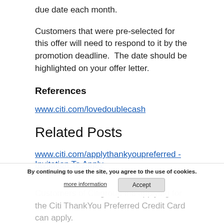due date each month.
Customers that were pre-selected for this offer will need to respond to it by the promotion deadline.  The date should be highlighted on your offer letter.
References
www.citi.com/lovedoublecash
Related Posts
www.citi.com/applythankyoupreferred - Invitation To Apply
Customers of Citigroup Inc applying for the Citi ThankYou Preferred Credit Card can apply.
By continuing to use the site, you agree to the use of cookies.
more information    Accept